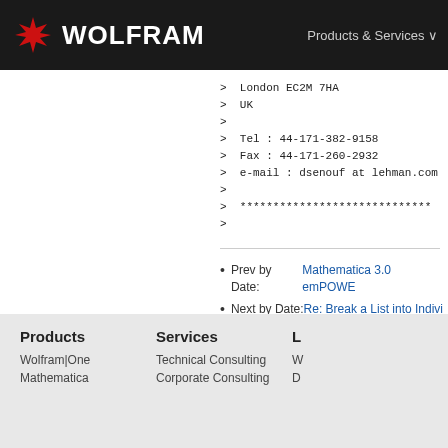WOLFRAM | Products & Services
>  London EC2M 7HA
>  UK
>
>  Tel : 44-171-382-9158
>  Fax : 44-171-260-2932
>  e-mail : dsenouf at lehman.com
>
>  ***********************************
>
Prev by Date: Mathematica 3.0 emPOWE...
Next by Date: Re: Break a List into Indivi...
Previous by thread: Mathlink, Excel 7.0, M...
Next by thread: using Mathematica 2.2 in...
Products: Wolfram|One, Mathematica | Services: Technical Consulting, Corporate Consulting